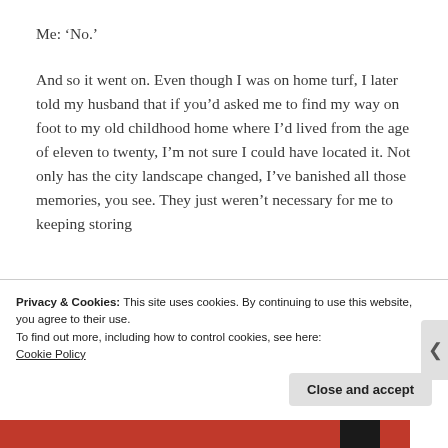Me: ‘No.’
And so it went on. Even though I was on home turf, I later told my husband that if you’d asked me to find my way on foot to my old childhood home where I’d lived from the age of eleven to twenty, I’m not sure I could have located it. Not only has the city landscape changed, I’ve banished all those memories, you see. They just weren’t necessary for me to keeping storing
Privacy & Cookies: This site uses cookies. By continuing to use this website, you agree to their use.
To find out more, including how to control cookies, see here:
Cookie Policy
Close and accept